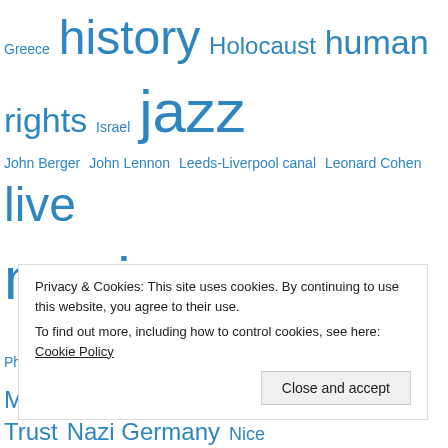Greece history Holocaust human rights Israel jazz John Berger John Lennon Leeds-Liverpool canal Leonard Cohen live music Liverpool Liverpool Philharmonic London Mali Manchester Middle East migration National Trust Nazi Germany Nice novel obituary painting Palestine Patti Smith Paul McCartney Photography poetry politics racism Rebecca Solnit refugees River Mersey RNCM rock music Scotland sculpture Sefton Park Shakespeare Slavery South Africa trees
Privacy & Cookies: This site uses cookies. By continuing to use this website, you agree to their use. To find out more, including how to control cookies, see here: Cookie Policy